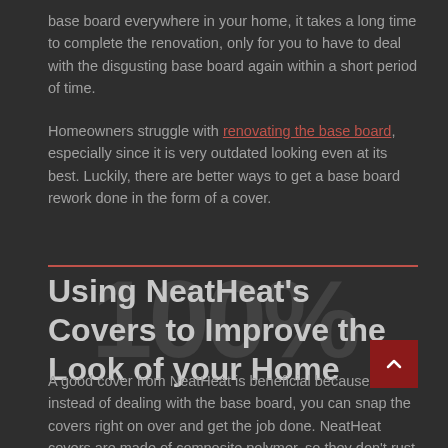base board everywhere in your home, it takes a long time to complete the renovation, only for you to have to deal with the disgusting base board again within a short period of time.
Homeowners struggle with renovating the base board, especially since it is very outdated looking even at its best. Luckily, there are better ways to get a base board rework done in the form of a cover.
Using NeatHeat's Covers to Improve the Look of your Home
A good cover from NeatHeat is beneficial because, instead of dealing with the base board, you can snap the covers right on over and get the job done. NeatHeat covers are made of composite polymer, so they don't rust or chip or dent, and they don't show scratches easily due to their continuous white color.